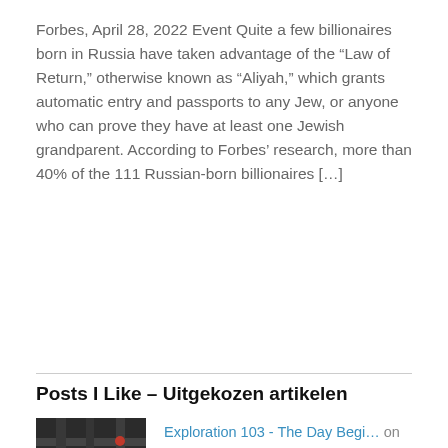Forbes, April 28, 2022 Event Quite a few billionaires born in Russia have taken advantage of the “Law of Return,” otherwise known as “Aliyah,” which grants automatic entry and passports to any Jew, or anyone who can prove they have at least one Jewish grandparent. According to Forbes’ research, more than 40% of the 111 Russian-born billionaires […]
Posts I Like – Uitgekozen artikelen
[Figure (photo): Thumbnail image showing pipes with red fittings against a dark background]
Exploration 103 - The Day Begi… on Poetry, Short Prose and Walking
[Figure (photo): Thumbnail image showing a grey concrete or asphalt surface with a small bird or object]
From the Ground Up on Poetry, Short Prose and Walking